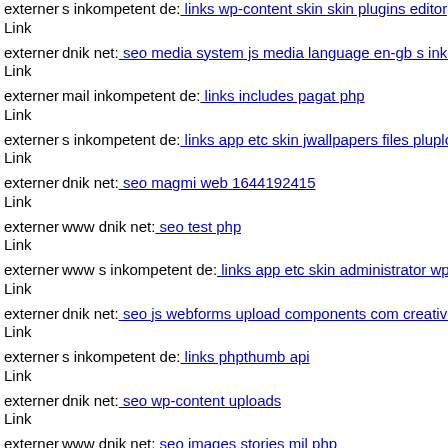externer Link s inkompetent de: links wp-content skin skin plugins editor
externer Link dnik net: seo media system js media language en-gb s inkompetent
externer Link mail inkompetent de: links includes pagat php
externer Link s inkompetent de: links app etc skin jwallpapers files plupload
externer Link dnik net: seo magmi web 1644192415
externer Link www dnik net: seo test php
externer Link www s inkompetent de: links app etc skin administrator wp
externer Link dnik net: seo js webforms upload components com creative
externer Link s inkompetent de: links phpthumb api
externer Link dnik net: seo wp-content uploads
externer Link www dnik net: seo images stories mil php
externer Link s inkompetent de: links wp-content themes stendhal theme